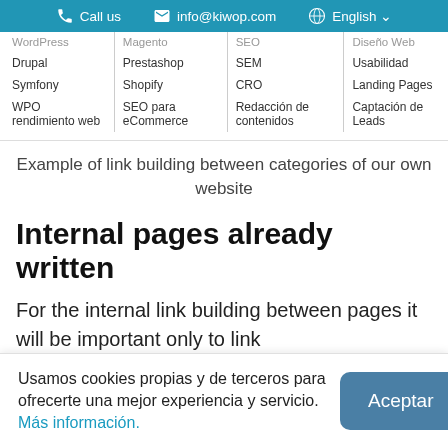Call us   info@kiwop.com   English
| WordPress | Magento | SEO | Diseño Web |
| Drupal | Prestashop | SEM | Usabilidad |
| Symfony | Shopify | CRO | Landing Pages |
| WPO rendimiento web | SEO para eCommerce | Redacción de contenidos | Captación de Leads |
Example of link building between categories of our own website
Internal pages already written
For the internal link building between pages it will be important only to link
Usamos cookies propias y de terceros para ofrecerte una mejor experiencia y servicio. Más información.